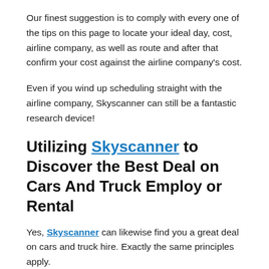Our finest suggestion is to comply with every one of the tips on this page to locate your ideal day, cost, airline company, as well as route and after that confirm your cost against the airline company's cost.
Even if you wind up scheduling straight with the airline company, Skyscanner can still be a fantastic research device!
Utilizing Skyscanner to Discover the Best Deal on Cars And Truck Employ or Rental
Yes, Skyscanner can likewise find you a great deal on cars and truck hire. Exactly the same principles apply.
Making Use Of Skyscanner to Discover a Deal on Hotels.
Yes, they do this also. There are numerous devices nowadays that enable you to find deals, publication flights, and traveling